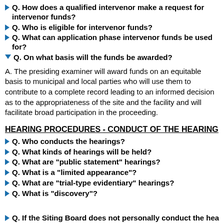Q. How does a qualified intervenor make a request for intervenor funds?
Q. Who is eligible for intervenor funds?
Q. What can application phase intervenor funds be used for?
Q. On what basis will the funds be awarded?
A. The presiding examiner will award funds on an equitable basis to municipal and local parties who will use them to contribute to a complete record leading to an informed decision as to the appropriateness of the site and the facility and will facilitate broad participation in the proceeding.
HEARING PROCEDURES - CONDUCT OF THE HEARING
Q. Who conducts the hearings?
Q. What kinds of hearings will be held?
Q. What are "public statement" hearings?
Q. What is a "limited appearance"?
Q. What are "trial-type evidentiary" hearings?
Q. What is "discovery"?
Q. If the Siting Board does not personally conduct the hearings, how does it became informed of the proceedings?